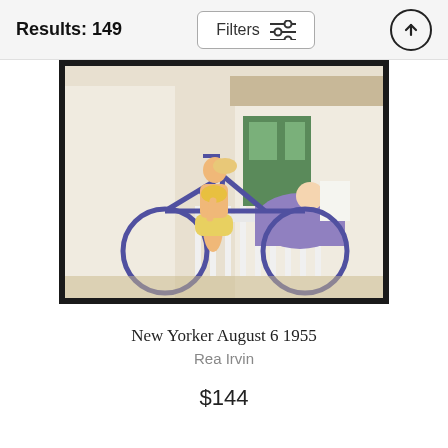Results: 149
Filters
[Figure (illustration): Illustration of a woman in a yellow swimsuit riding a blue bicycle past a white picket fence and cottage, with an elderly figure reading in the background. Framed with a thick black border.]
New Yorker August 6 1955
Rea Irvin
$144